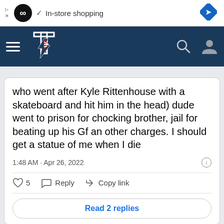[Figure (screenshot): Ad bar with infinity logo and in-store shopping text]
[Figure (screenshot): Navigation bar with hamburger menu, site logo, search and user icons]
who went after Kyle Rittenhouse with a skateboard and hit him in the head) dude went to prison for chocking brother, jail for beating up his Gf an other charges. I should get a statue of me when I die
1:48 AM · Apr 26, 2022
5  Reply  Copy link
Read 2 replies